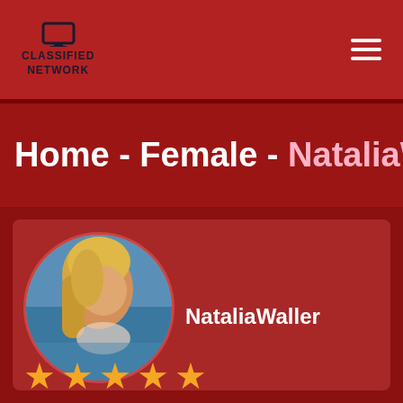CLASSIFIED NETWORK
Home - Female - NataliaWaller
[Figure (photo): Circular profile photo of a blonde woman in a bikini near water]
NataliaWaller
★ ★ ★ ★ ★